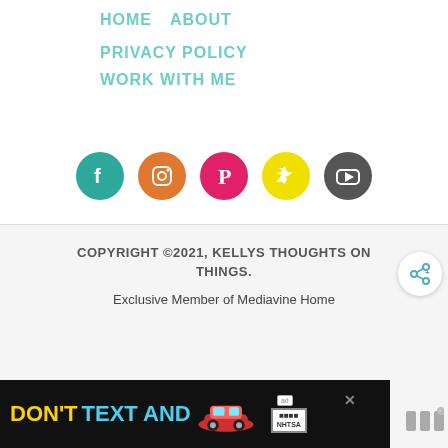HOME   ABOUT
PRIVACY POLICY
WORK WITH ME
[Figure (infographic): Social media icons row: Facebook (teal), Instagram (orange), Pinterest (pink/red), Twitter (yellow), YouTube (dark gray)]
COPYRIGHT ©2021, KELLYS THOUGHTS ON THINGS.
Exclusive Member of Mediavine Home
[Figure (screenshot): Advertisement banner: DON'T TEXT AND [car image] with ad and NHTSA logos]